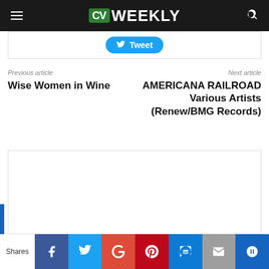CV WEEKLY
[Figure (screenshot): Tweet button with Twitter bird icon]
Previous article
Wise Women in Wine
Next article
AMERICANA RAILROAD Various Artists (Renew/BMG Records)
[Figure (screenshot): Advertisement area (white box)]
[Figure (infographic): Social share bar with Facebook, Twitter, Google+, Pinterest, SMS, Email, and More buttons. Shares label on left.]